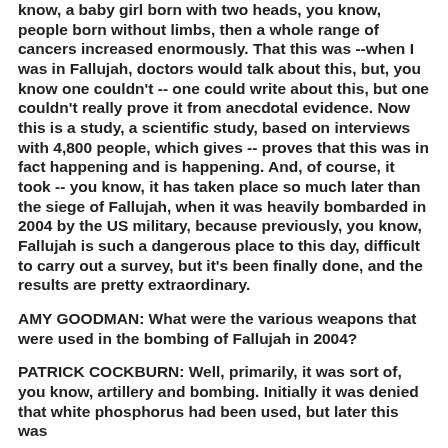know, a baby girl born with two heads, you know, people born without limbs, then a whole range of cancers increased enormously. That this was --when I was in Fallujah, doctors would talk about this, but, you know one couldn't -- one could write about this, but one couldn't really prove it from anecdotal evidence. Now this is a study, a scientific study, based on interviews with 4,800 people, which gives -- proves that this was in fact happening and is happening. And, of course, it took -- you know, it has taken place so much later than the siege of Fallujah, when it was heavily bombarded in 2004 by the US military, because previously, you know, Fallujah is such a dangerous place to this day, difficult to carry out a survey, but it's been finally done, and the results are pretty extraordinary.
AMY GOODMAN: What were the various weapons that were used in the bombing of Fallujah in 2004?
PATRICK COCKBURN: Well, primarily, it was sort of, you know, artillery and bombing. Initially it was denied that white phosphorus had been used, but later this was